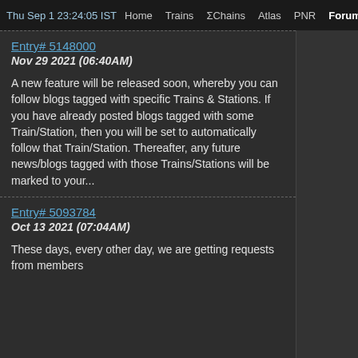Thu Sep 1 23:24:05 IST  Home  Trains  ΣChains  Atlas  PNR  Forum  Quiz Fe
Entry# 5148000
Nov 29 2021 (06:40AM)

A new feature will be released soon, whereby you can follow blogs tagged with specific Trains & Stations. If you have already posted blogs tagged with some Train/Station, then you will be set to automatically follow that Train/Station. Thereafter, any future news/blogs tagged with those Trains/Stations will be marked to your...
Entry# 5093784
Oct 13 2021 (07:04AM)

These days, every other day, we are getting requests from members